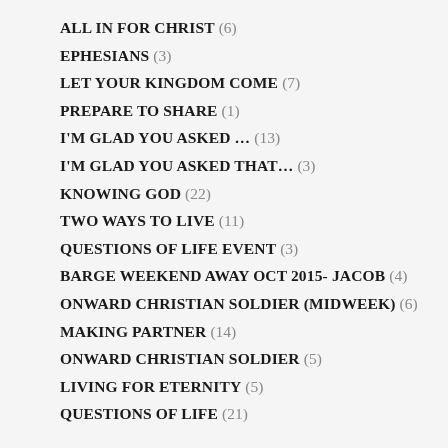ALL IN FOR CHRIST (6)
EPHESIANS (3)
LET YOUR KINGDOM COME (7)
PREPARE TO SHARE (1)
I'M GLAD YOU ASKED … (13)
I'M GLAD YOU ASKED THAT… (3)
KNOWING GOD (22)
TWO WAYS TO LIVE (11)
QUESTIONS OF LIFE EVENT (3)
BARGE WEEKEND AWAY OCT 2015- JACOB (4)
ONWARD CHRISTIAN SOLDIER (MIDWEEK) (6)
MAKING PARTNER (14)
ONWARD CHRISTIAN SOLDIER (5)
LIVING FOR ETERNITY (5)
QUESTIONS OF LIFE (21)